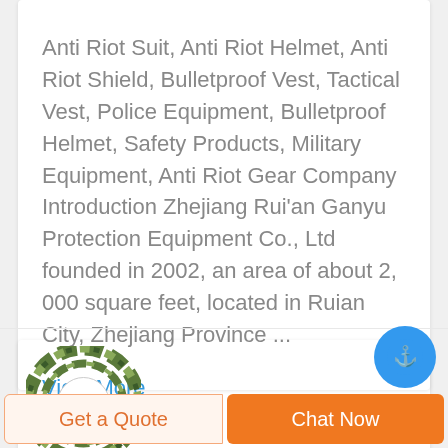Anti Riot Suit, Anti Riot Helmet, Anti Riot Shield, Bulletproof Vest, Tactical Vest, Police Equipment, Bulletproof Helmet, Safety Products, Military Equipment, Anti Riot Gear Company Introduction Zhejiang Rui'an Ganyu Protection Equipment Co., Ltd founded in 2002, an area of about 2, 000 square feet, located in Ruian City, Zhejiang Province ...
View More
[Figure (logo): Circular camouflage-patterned logo with letter D in red center, partial company name in red below]
[Figure (photo): Partial grey circular object visible at bottom right]
Get a Quote
Chat Now